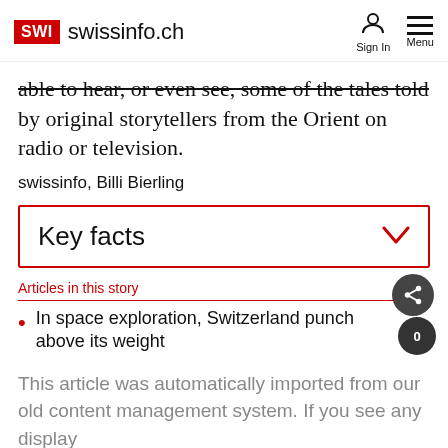SWI swissinfo.ch | Sign In | Menu
able to hear, or even see, some of the tales told by original storytellers from the Orient on radio or television.
swissinfo, Billi Bierling
Key facts
Articles in this story
In space exploration, Switzerland punches above its weight
This article was automatically imported from our old content management system. If you see any display